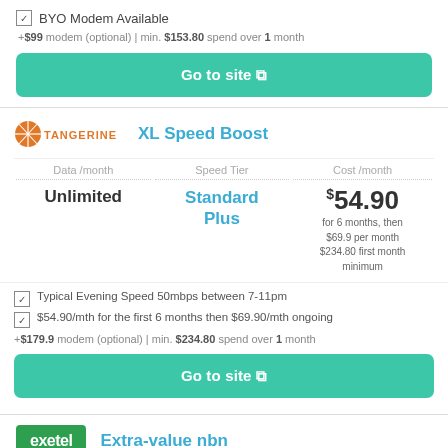BYO Modem Available
+$99 modem (optional) | min. $153.80 spend over 1 month
Go to site
TANGERINE  XL Speed Boost
| Data /month | Speed Tier | Cost /month |
| --- | --- | --- |
| Unlimited | Standard Plus | $54.90 for 6 months, then $69.9 per month $234.80 first month minimum |
Typical Evening Speed 50mbps between 7-11pm
$54.90/mth for the first 6 months then $69.90/mth ongoing
+$179.9 modem (optional) | min. $234.80 spend over 1 month
Go to site
exetel  Extra-value nbn